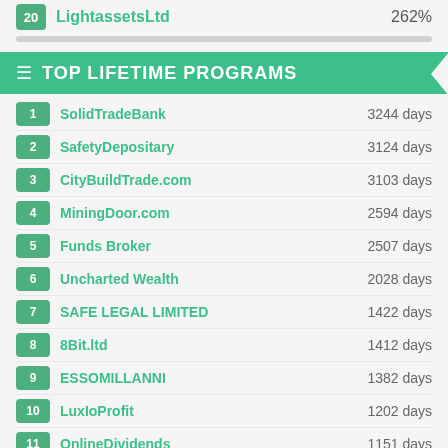20 LightassetsLtd 262%
TOP LIFETIME PROGRAMS
1 SolidTradeBank 3244 days
2 SafetyDepositary 3124 days
3 CityBuildTrade.com 3103 days
4 MiningDoor.com 2594 days
5 Funds Broker 2507 days
6 Uncharted Wealth 2028 days
7 SAFE LEGAL LIMITED 1422 days
8 8Bit.ltd 1412 days
9 ESSOMILLANNI 1382 days
10 LuxIoProfit 1202 days
11 OnlineDividends 1151 days
12 LightassetsLtd 1128 days
13 Robotics Online 1025 days
14 Bitcoin Wealth 969 days
15 BitcoBid Limited 934 days